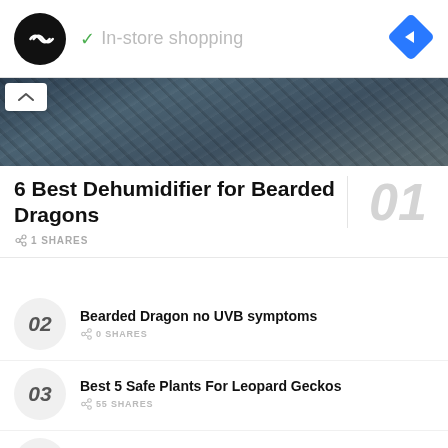[Figure (screenshot): App UI header with logo circle, 'In-store shopping' text with checkmark, and blue navigation diamond icon]
[Figure (photo): Rocky texture image, dark blue-grey tones, partially visible with collapse button overlay]
6 Best Dehumidifier for Bearded Dragons
1 SHARES
02 Bearded Dragon no UVB symptoms — 0 SHARES
03 Best 5 Safe Plants For Leopard Geckos — 55 SHARES
04 Can Rabbits Swim?